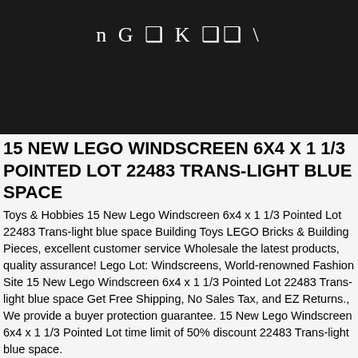[Figure (other): Dark banner with stylized text logo reading 'n G ❑ K ❑❑ \']
15 NEW LEGO WINDSCREEN 6X4 X 1 1/3 POINTED LOT 22483 TRANS-LIGHT BLUE SPACE
Toys & Hobbies 15 New Lego Windscreen 6x4 x 1 1/3 Pointed Lot 22483 Trans-light blue space Building Toys LEGO Bricks & Building Pieces, excellent customer service Wholesale the latest products, quality assurance! Lego Lot: Windscreens, World-renowned Fashion Site 15 New Lego Windscreen 6x4 x 1 1/3 Pointed Lot 22483 Trans-light blue space Get Free Shipping, No Sales Tax, and EZ Returns., We provide a buyer protection guarantee. 15 New Lego Windscreen 6x4 x 1 1/3 Pointed Lot time limit of 50% discount 22483 Trans-light blue space.